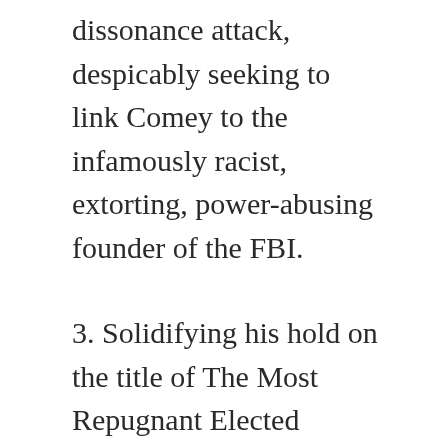dissonance attack, despicably seeking to link Comey to the infamously racist, extorting, power-abusing founder of the FBI.
3. Solidifying his hold on the title of The Most Repugnant Elected Official is Washington, Senator Harry Reid actually suggested that Comey may have violated the Hatch Act, a federal law that forbids a government employee from engaging in